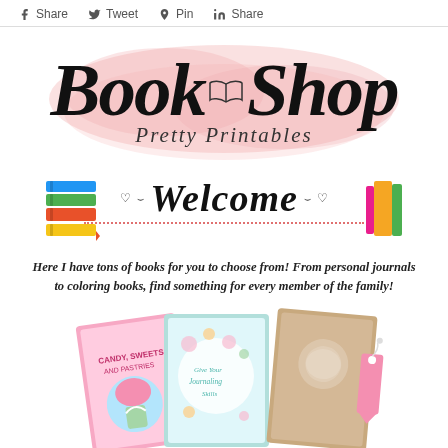Share  Tweet  Pin  Share
[Figure (logo): Book Shop Pretty Printables logo with pink watercolor cloud background, open book icon between 'Book' and 'Shop' in large serif font, and 'Pretty Printables' in italic script below]
[Figure (illustration): Welcome banner with decorative hearts, stack of colorful books on left, stack of books on right, dotted pink underline]
Here I have tons of books for you to choose from! From personal journals to coloring books, find something for every member of the family!
[Figure (photo): Three book/journal covers fanned out: candy sweets coloring book (pink), floral journal (teal), decorative notebook (gold/tan), with a pink bookmark tag on the right]